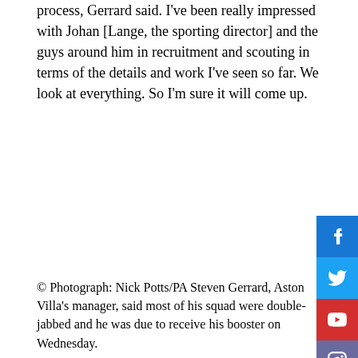process, Gerrard said. I've been really impressed with Johan [Lange, the sporting director] and the guys around him in recruitment and scouting in terms of the details and work I've seen so far. We look at everything. So I'm sure it will come up.
[Figure (other): Social media share buttons: Facebook (blue), Twitter (blue), YouTube (red), Instagram (purple/grey)]
© Photograph: Nick Potts/PA Steven Gerrard, Aston Villa's manager, said most of his squad were double-jabbed and he was due to receive his booster on Wednesday.